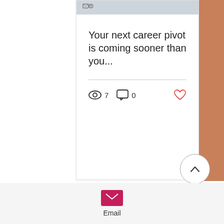[Figure (screenshot): A blog/social post card showing the title 'Your next career pivot is coming sooner than you...' with view count 7, comment count 0, and a heart/like button. A carousel indicator shows 3 dots (first active). Below is a divider, a back-to-top button (chevron up in circle), and a footer section with a pink email icon and the label 'Email'.]